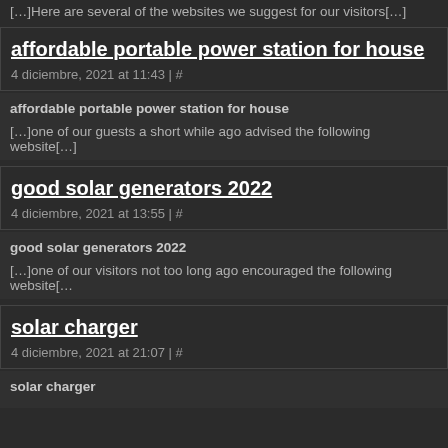[…]Here are several of the websites we suggest for our visitors[…]
affordable portable power station for house
4 diciembre, 2021 at 11:43 | #
affordable portable power station for house
[…]one of our guests a short while ago advised the following website[…]
good solar generators 2022
4 diciembre, 2021 at 13:55 | #
good solar generators 2022
[…]one of our visitors not too long ago encouraged the following website[…]
solar charger
4 diciembre, 2021 at 21:07 | #
solar charger